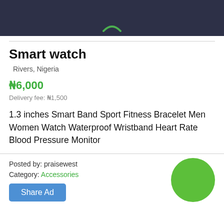Smart watch
Rivers, Nigeria
₦6,000
Delivery fee: ₦1,500
1.3 inches Smart Band Sport Fitness Bracelet Men Women Watch Waterproof Wristband Heart Rate Blood Pressure Monitor
Posted by: praisewest
Category: Accessories
Share Ad